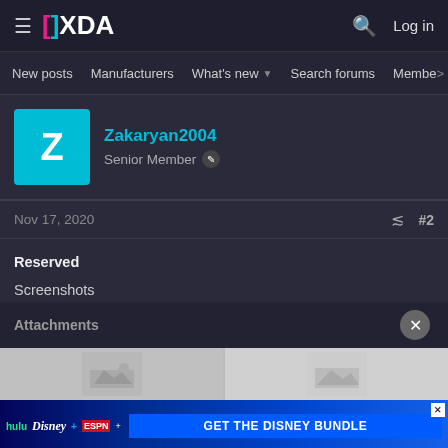XDA — New posts  Manufacturers  What's new  Search forums  Members
Zakaryan2004
Senior Member
Nov 17, 2020  #2
Reserved
Screenshots
Attachments
[Figure (screenshot): Disney Bundle advertisement banner: Hulu, Disney+, ESPN+ logos with 'GET THE DISNEY BUNDLE' call to action button. Disclaimer: Incl. Hulu (ad-supported) or Hulu (No Ads). Access content from each service separately. ©2021 Disney and its related entities]